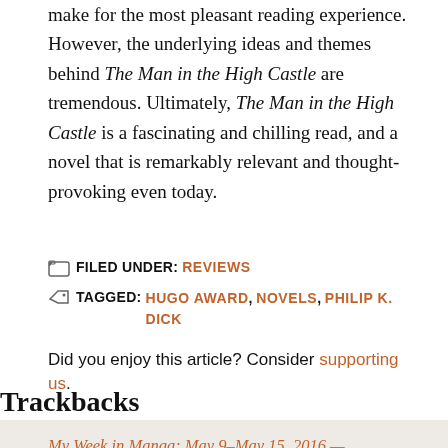make for the most pleasant reading experience. However, the underlying ideas and themes behind The Man in the High Castle are tremendous. Ultimately, The Man in the High Castle is a fascinating and chilling read, and a novel that is remarkably relevant and thought-provoking even today.
FILED UNDER: REVIEWS
TAGGED: HUGO AWARD, NOVELS, PHILIP K. DICK
Did you enjoy this article? Consider supporting us.
Trackbacks
My Week in Manga: May 9–May 15, 2016 — Experiments in Manga says:
16 July 2016 at 7:01 PM
[...] more relaxed posting schedule. Last week I also reviewed Philip K. Dick's award-winning novel The Man in